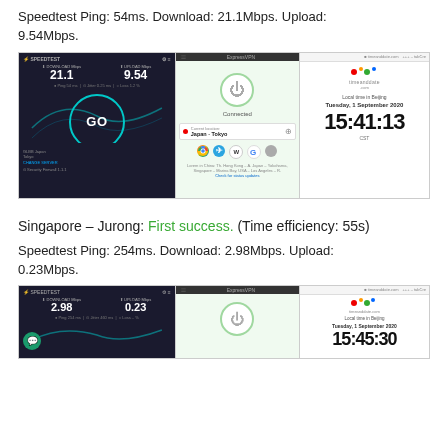Speedtest Ping: 54ms. Download: 21.1Mbps. Upload: 9.54Mbps.
[Figure (screenshot): Three-panel screenshot: left panel shows Speedtest app with download 21.1 and upload 9.54 Mbps, ping 54ms, GO button, GLBB Japan Tokyo server; middle panel shows ExpressVPN app connected to Japan - Tokyo; right panel shows timeanddate.com showing Local time in Beijing, Tuesday, 1 September 2020, 15:41:13 CST]
Singapore – Jurong: First success. (Time efficiency: 55s)
Speedtest Ping: 254ms. Download: 2.98Mbps. Upload: 0.23Mbps.
[Figure (screenshot): Three-panel screenshot: left panel shows Speedtest app with download 2.98 and upload 0.23 Mbps, ping 254ms; middle panel shows ExpressVPN connected; right panel shows timeanddate.com showing Local time in Beijing, Tuesday, 1 September 2020, 15:45:30]